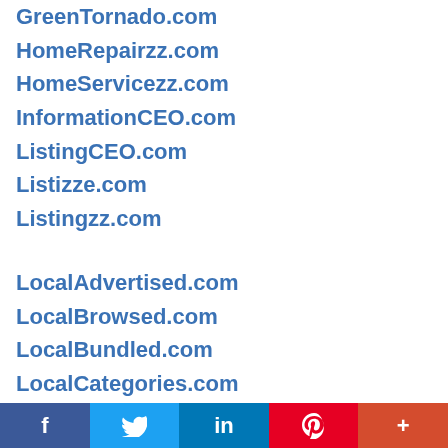GreenTornado.com
HomeRepairzz.com
HomeServicezz.com
InformationCEO.com
ListingCEO.com
Listizze.com
Listingzz.com
LocalAdvertised.com
LocalBrowsed.com
LocalBundled.com
LocalCategories.com
LocalDisplayed.com
LocalFeatured.com
LocalMarketed.com
LocalPromoted.com
f  (Twitter bird)  in  P  +